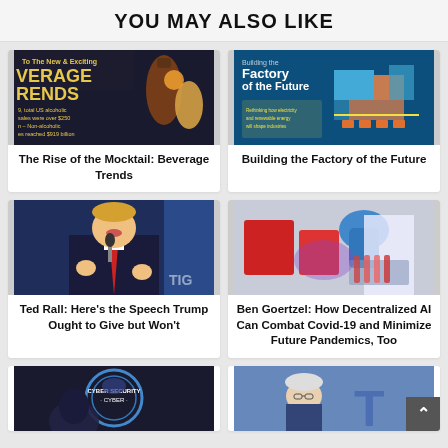YOU MAY ALSO LIKE
[Figure (photo): Beverage trends infographic showing mocktails and alcoholic beverages with text about US alcohol sales over $250 billion]
The Rise of the Mocktail: Beverage Trends
[Figure (infographic): Building the Factory of the Future - isometric illustration of futuristic factory]
Building the Factory of the Future
[Figure (photo): Donald Trump speaking at a microphone]
Ted Rall: Here's the Speech Trump Ought to Give but Won't
[Figure (photo): Lab scientist handling red containers and blue liquids]
Ben Goertzel: How Decentralized AI Can Combat Covid-19 and Minimize Future Pandemics, Too
[Figure (photo): Cyber security emblem/badge]
[Figure (photo): Bernie Sanders speaking at event with letter T visible in background]